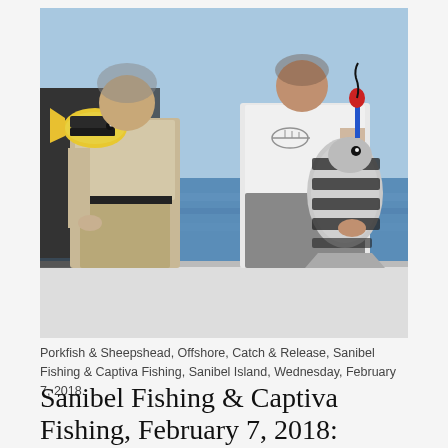[Figure (photo): Two men standing on a boat offshore, each holding a fish. The man on the left holds a yellow Porkfish, wearing a light beige fishing shirt and khaki shorts. The man on the right holds a striped Sheepshead fish, wearing a white t-shirt with a fish skeleton graphic. Blue ocean water visible in the background.]
Porkfish & Sheepshead, Offshore, Catch & Release, Sanibel Fishing & Captiva Fishing, Sanibel Island, Wednesday, February 7, 2018.
Sanibel Fishing & Captiva Fishing, February 7, 2018: Porkfish & Sheepshead!